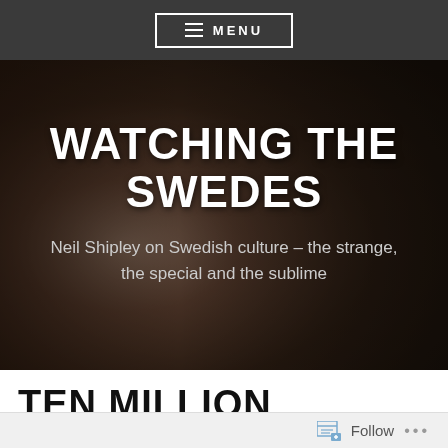☰ MENU
[Figure (photo): Background photo of an older man with white beard, blurred, used as hero image background for 'Watching the Swedes' blog]
WATCHING THE SWEDES
Neil Shipley on Swedish culture – the strange, the special and the sublime
TEN MILLION SWEDES!
Follow ...